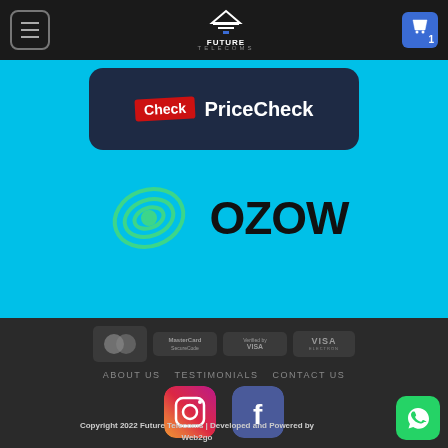[Figure (logo): Future Telecoms logo with navigation header bar, menu button and cart icon showing 1 item]
[Figure (logo): PriceCheck banner on dark blue rounded rectangle with cyan background]
[Figure (logo): OZOW payment brand logo with green spiral eye icon on cyan background]
[Figure (logo): Payment icons: MasterCard, MasterCard SecureCode, Verified by VISA, VISA Electron on dark footer]
ABOUT US   TESTIMONIALS   CONTACT US
[Figure (logo): Instagram and Facebook social media icons]
Copyright 2022 Future Telecoms | Developed and Powered by Web2go